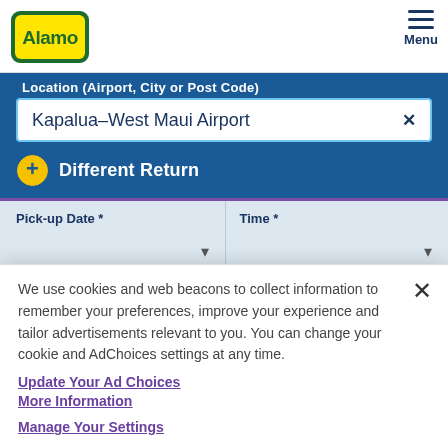[Figure (logo): Alamo car rental logo — yellow rounded rectangle with green border, 'Alamo' in yellow text]
Menu
Location (Airport, City or Post Code)
Kapalua–West Maui Airport ×
+ Different Return
Pick-up Date *
Time *
We use cookies and web beacons to collect information to remember your preferences, improve your experience and tailor advertisements relevant to you. You can change your cookie and AdChoices settings at any time.
Update Your Ad Choices
More Information
Manage Your Settings